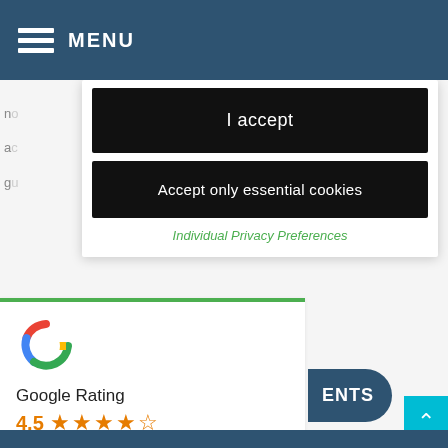MENU
experience.
no
ac
gu
I accept
Accept only essential cookies
Individual Privacy Preferences
To
us on 01474 332 770 or email
info@noveldentalgroup.com.
[Figure (logo): Google G logo with Google Rating 4.5 stars widget]
ENTS